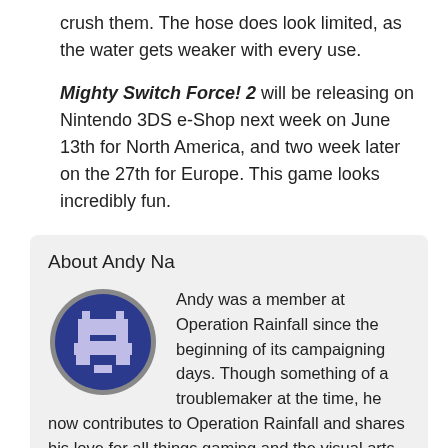crush them. The hose does look limited, as the water gets weaker with every use.
Mighty Switch Force! 2 will be releasing on Nintendo 3DS e-Shop next week on June 13th for North America, and two week later on the 27th for Europe. This game looks incredibly fun.
About Andy Na
[Figure (illustration): Circular avatar icon with a dark blue background and a grey pixel-art game character silhouette, surrounded by a grey border ring.]
Andy was a member at Operation Rainfall since the beginning of its campaigning days. Though something of a troublemaker at the time, he now contributes to Operation Rainfall and shares his love for all things gaming and the visual arts. His